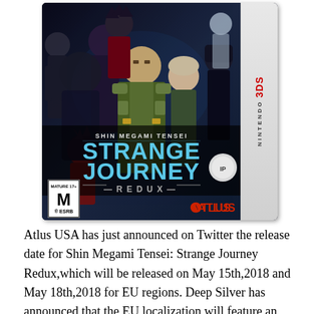[Figure (illustration): Nintendo 3DS game box cover for Shin Megami Tensei: Strange Journey Redux. Features anime-style characters on a dark background. Title text shows 'SHIN MEGAMI TENSEI: STRANGE JOURNEY REDUX' in blue and grey. ESRB rating Mature 17+. Atlus logo. Nintendo 3DS branding on spine.]
Atlus USA has just announced on Twitter the release date for Shin Megami Tensei: Strange Journey Redux,which will be released on May 15th,2018 and May 18th,2018 for EU regions. Deep Silver has announced that the EU localization will feature an english dub no mention of this for the NA